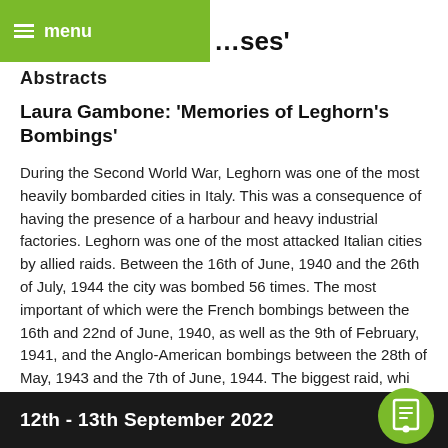menu | ...ses'
Abstracts
Laura Gambone: 'Memories of Leghorn's Bombings'
During the Second World War, Leghorn was one of the most heavily bombarded cities in Italy. This was a consequence of having the presence of a harbour and heavy industrial factories. Leghorn was one of the most attacked Italian cities by allied raids. Between the 16th of June, 1940 and the 26th of July, 1944 the city was bombed 56 times. The most important of which were the French bombings between the 16th and 22nd of June, 1940, as well as the 9th of February, 1941, and the Anglo-American bombings between the 28th of May, 1943 and the 7th of June, 1944. The biggest raid, which the most remembered by the locals, happen...
12th - 13th September 2022